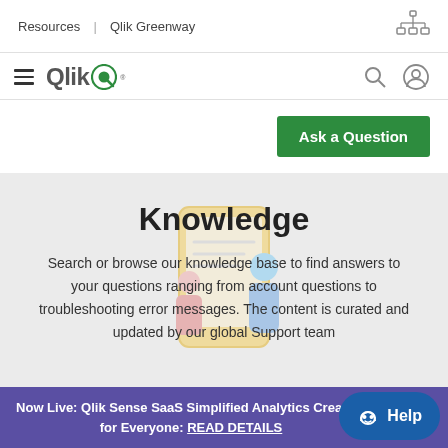Resources | Qlik Greenway
[Figure (logo): Qlik logo with hamburger menu icon]
Ask a Question
Knowledge
Search or browse our knowledge base to find answers to your questions ranging from account questions to troubleshooting error messages. The content is curated and updated by our global Support team
[Figure (illustration): Illustration of person browsing knowledge base on a phone/tablet]
Now Live: Qlik Sense SaaS Simplified Analytics Creation for Everyone: READ DETAILS